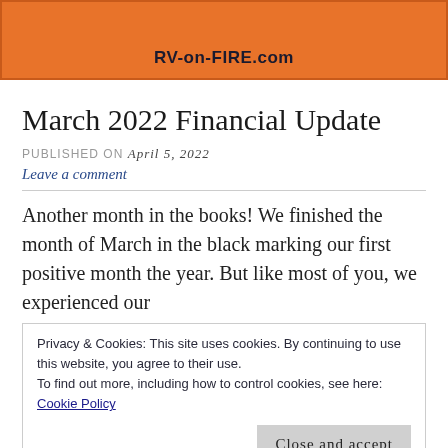[Figure (logo): Orange banner header with RV-on-FIRE.com website logo/name in bold dark text on orange background]
March 2022 Financial Update
PUBLISHED ON April 5, 2022
Leave a comment
Another month in the books! We finished the month of March in the black marking our first positive month the year. But like most of you, we experienced our
Privacy & Cookies: This site uses cookies. By continuing to use this website, you agree to their use. To find out more, including how to control cookies, see here: Cookie Policy
Close and accept
the time...